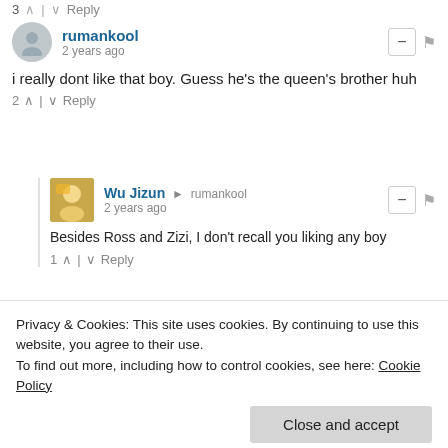3 ∧ | ∨ Reply
rumankool
2 years ago
i really dont like that boy. Guess he's the queen's brother huh
2 ∧ | ∨ Reply
Wu Jizun → rumankool
2 years ago
Besides Ross and Zizi, I don't recall you liking any boy
1 ∧ | ∨ Reply
rumankool → Wu Jizun
2 years ago
i dont like ross all that much either
Privacy & Cookies: This site uses cookies. By continuing to use this website, you agree to their use.
To find out more, including how to control cookies, see here: Cookie Policy
Close and accept
Daiz71